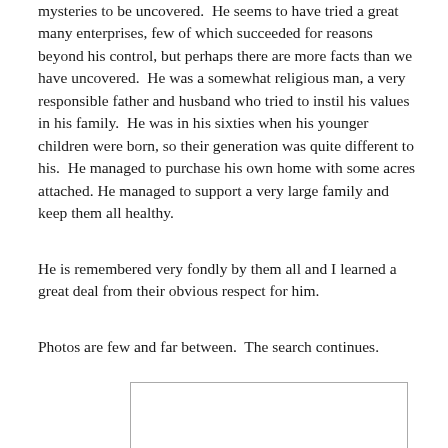mysteries to be uncovered.  He seems to have tried a great many enterprises, few of which succeeded for reasons beyond his control, but perhaps there are more facts than we have uncovered.  He was a somewhat religious man, a very responsible father and husband who tried to instil his values in his family.  He was in his sixties when his younger children were born, so their generation was quite different to his.  He managed to purchase his own home with some acres attached. He managed to support a very large family and keep them all healthy.
He is remembered very fondly by them all and I learned a great deal from their obvious respect for him.
Photos are few and far between.  The search continues.
[Figure (photo): A partially visible rectangular photo or image box with a thin border, showing mostly white/blank content at the bottom of the page.]